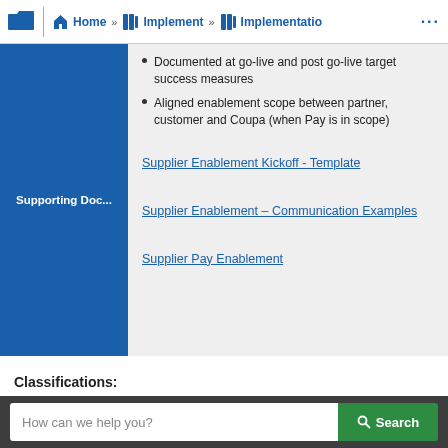Home » Implement » Implementatio ...
Documented at go-live and post go-live target success measures
Aligned enablement scope between partner, customer and Coupa (when Pay is in scope)
| Supporting Doc... | Links |
| --- | --- |
|  | Supplier Enablement Kickoff - Template |
|  | Supplier Enablement – Communication Examples |
|  | Supplier Pay Enablement |
Classifications:
How can we help you?